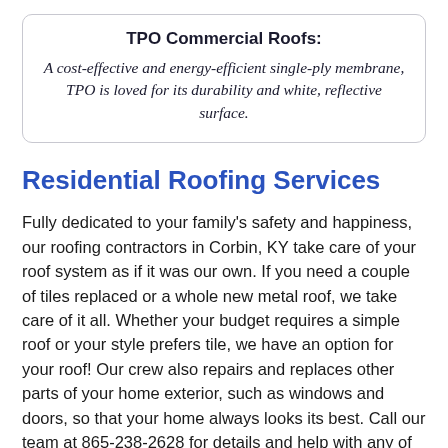TPO Commercial Roofs:
A cost-effective and energy-efficient single-ply membrane, TPO is loved for its durability and white, reflective surface.
Residential Roofing Services
Fully dedicated to your family’s safety and happiness, our roofing contractors in Corbin, KY take care of your roof system as if it was our own. If you need a couple of tiles replaced or a whole new metal roof, we take care of it all. Whether your budget requires a simple roof or your style prefers tile, we have an option for your roof! Our crew also repairs and replaces other parts of your home exterior, such as windows and doors, so that your home always looks its best. Call our team at 865-238-2628 for details and help with any of the following